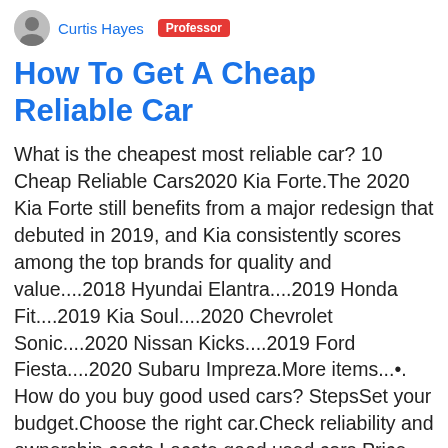Curtis Hayes  Professor
How To Get A Cheap Reliable Car
What is the cheapest most reliable car? 10 Cheap Reliable Cars2020 Kia Forte.The 2020 Kia Forte still benefits from a major redesign that debuted in 2019, and Kia consistently scores among the top brands for quality and value....2018 Hyundai Elantra....2019 Honda Fit....2019 Kia Soul....2020 Chevrolet Sonic....2020 Nissan Kicks....2019 Ford Fiesta....2020 Subaru Impreza.More items...•. How do you buy good used cars? StepsSet your budget.Choose the right car.Check reliability and ownership costs.Locate good used cars.Price the cars.Check the vehicle history report.Contact the seller.Test drive the car.More items... What is the most reliable 10 year old car? Most Reliable 10 Year Old